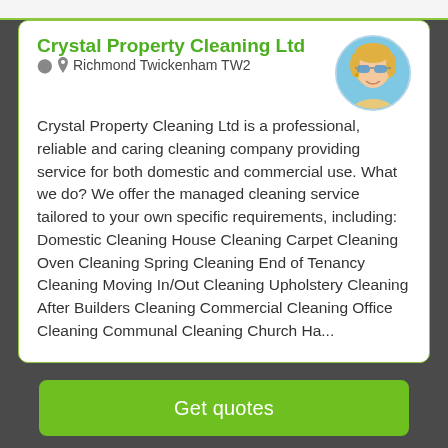Crystal Property Cleaning Ltd
Richmond Twickenham TW2
[Figure (photo): Circular profile photo of a blonde woman wearing sunglasses, outdoors with blue background.]
Crystal Property Cleaning Ltd is a professional, reliable and caring cleaning company providing service for both domestic and commercial use. What we do? We offer the managed cleaning service tailored to your own specific requirements, including: Domestic Cleaning House Cleaning Carpet Cleaning Oven Cleaning Spring Cleaning End of Tenancy Cleaning Moving In/Out Cleaning Upholstery Cleaning After Builders Cleaning Commercial Cleaning Office Cleaning Communal Cleaning Church Ha...
Get quotes